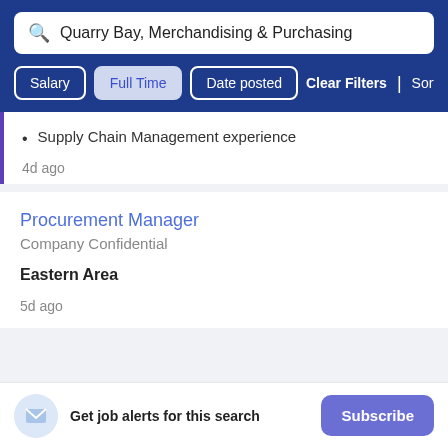Quarry Bay, Merchandising & Purchasing
Salary | Full Time | Date posted | Clear Filters | Sort By Relevance
Supply Chain Management experience
4d ago
Procurement Manager
Company Confidential
Eastern Area
5d ago
Get job alerts for this search